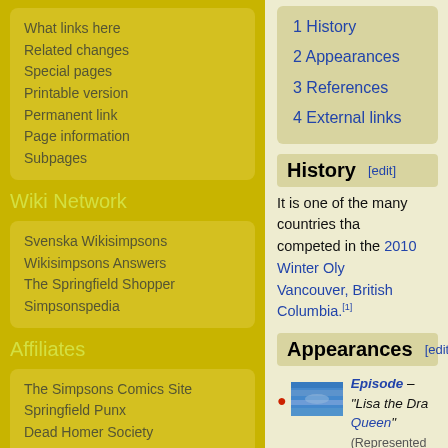What links here
Related changes
Special pages
Printable version
Permanent link
Page information
Subpages
Wiki Network
Svenska Wikisimpsons
Wikisimpsons Answers
The Springfield Shopper
Simpsonspedia
Affiliates
The Simpsons Comics Site
Springfield Punx
Dead Homer Society
The Infosphere
NIWA
Other affiliates
1 History
2 Appearances
3 References
4 External links
History [edit]
It is one of the many countries that competed in the 2010 Winter Olympics in Vancouver, British Columbia.[1]
Appearances [edit]
Episode – "Lisa the Dragon Queen" (Represented at the Model...)
Episode – "Boy Meets C..." (Olympic team)
Comic story – Lo, There... Come... A Bartman!! (Minsk me...)